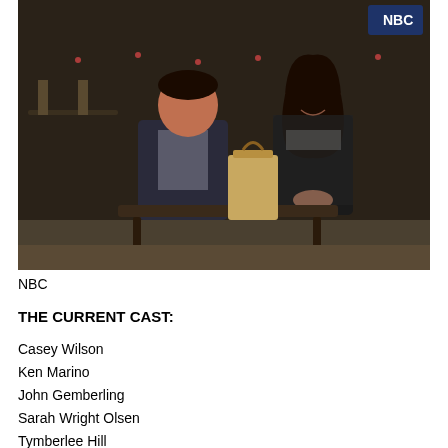[Figure (photo): Two people sitting on a bench outdoors at night. A man on the left in a dark jacket and gray shirt faces a woman on the right who has long dark hair and wears a dark patterned top. A brown paper bag sits between them. The background shows an outdoor restaurant/patio setting with string lights.]
NBC
THE CURRENT CAST:
Casey Wilson
Ken Marino
John Gemberling
Sarah Wright Olsen
Tymberlee Hill
Tim Meadows